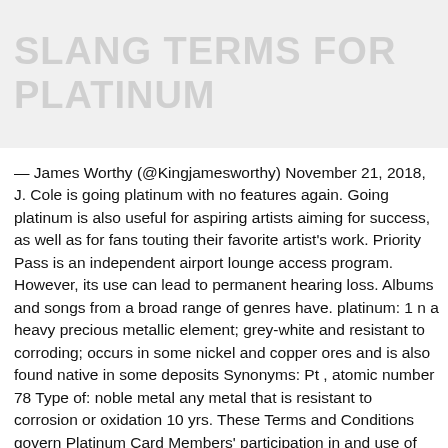SLANG TERMS FOR PLATINUM
— James Worthy (@Kingjamesworthy) November 21, 2018, J. Cole is going platinum with no features again. Going platinum is also useful for aspiring artists aiming for success, as well as for fans touting their favorite artist's work. Priority Pass is an independent airport lounge access program. However, its use can lead to permanent hearing loss. Albums and songs from a broad range of genres have. platinum: 1 n a heavy precious metallic element; grey-white and resistant to corroding; occurs in some nickel and copper ores and is also found native in some deposits Synonyms: Pt , atomic number 78 Type of: noble metal any metal that is resistant to corrosion or oxidation 10 yrs. These Terms and Conditions govern Platinum Card Members' participation in and use of the Priority Pass™ Select program.